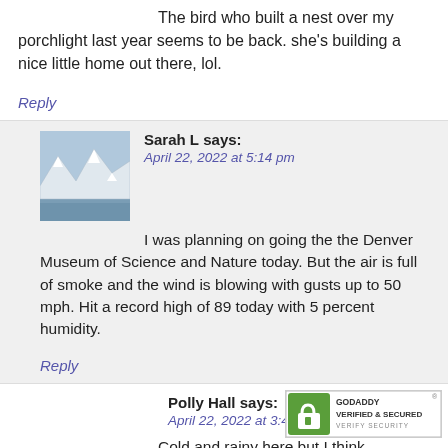The bird who built a nest over my porchlight last year seems to be back. she's building a nice little home out there, lol.
Reply
Sarah L says:
April 22, 2022 at 5:14 pm
I was planning on going the the Denver Museum of Science and Nature today. But the air is full of smoke and the wind is blowing with gusts up to 50 mph. Hit a record high of 89 today with 5 percent humidity.
Reply
Polly Hall says:
April 22, 2022 at 3:44 pm
Cold and rainy here but I think tomorrow is